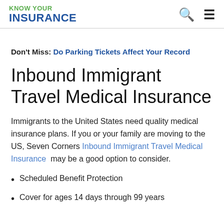KNOW YOUR INSURANCE
Don't Miss: Do Parking Tickets Affect Your Record
Inbound Immigrant Travel Medical Insurance
Immigrants to the United States need quality medical insurance plans. If you or your family are moving to the US, Seven Corners Inbound Immigrant Travel Medical Insurance may be a good option to consider.
Scheduled Benefit Protection
Cover for ages 14 days through 99 years